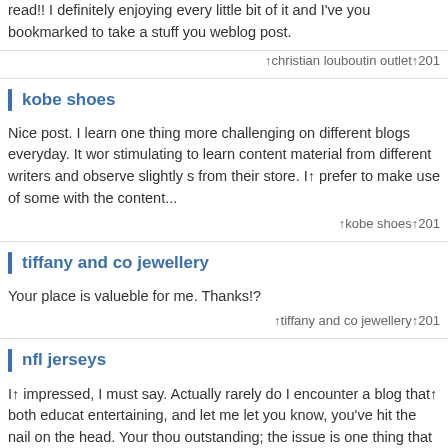read!! I definitely enjoying every little bit of it and I've you bookmarked to take a stuff you weblog post.
↑christian louboutin outlet↑201
kobe shoes
Nice post. I learn one thing more challenging on different blogs everyday. It wor stimulating to learn content material from different writers and observe slightly s from their store. I↑ prefer to make use of some with the content...
↑kobe shoes↑201
tiffany and co jewellery
Your place is valueble for me. Thanks!?
↑tiffany and co jewellery↑201
nfl jerseys
I↑ impressed, I must say. Actually rarely do I encounter a blog that↑ both educat entertaining, and let me let you know, you've hit the nail on the head. Your thou outstanding; the issue is one thing that not sufficient individuals are...
↑nfl jerseys↑201